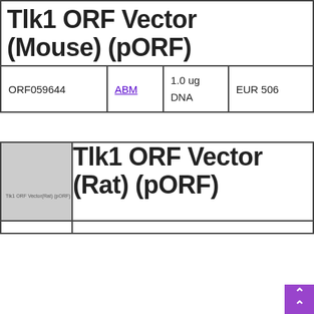| ID | Supplier | Quantity/Type | Price |
| --- | --- | --- | --- |
| Tlk1 ORF Vector (Mouse) (pORF) |  |  |  |
| ORF059644 | ABM | 1.0 ug
DNA | EUR 506 |
[Figure (other): Thumbnail image placeholder for Tlk1 ORF Vector (Rat) (pORF) product, gray box with small label text]
Tlk1 ORF Vector (Rat) (pORF)